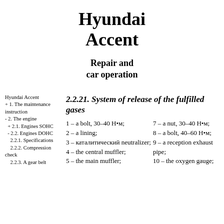Hyundai Accent
Repair and car operation
Hyundai Accent
+ 1. The maintenance instruction
- 2. The engine
+ 2.1. Engines SOHC
- 2.2. Engines DOHC
2.2.1. Specifications
2.2.2. Compression check
2.2.3. A gear belt
2.2.21. System of release of the fulfilled gases
1 – a bolt, 30–40 Н•м;
2 – a lining;
3 – каталитический neutralizer;
4 – the central muffler;
5 – the main muffler;
7 – a nut, 30–40 Н•м;
8 – a bolt, 40–60 Н•м;
9 – a reception exhaust pipe;
10 – the oxygen gauge;